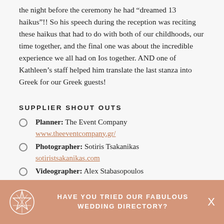the night before the ceremony he had “dreamed 13 haikus”!! So his speech during the reception was reciting these haikus that had to do with both of our childhoods, our time together, and the final one was about the incredible experience we all had on Ios together. AND one of Kathleen’s staff helped him translate the last stanza into Greek for our Greek guests!
SUPPLIER SHOUT OUTS
Planner: The Event Company www.theeventcompany.gr/
Photographer: Sotiris Tsakanikas sotiristsakanikas.com
Videographer: Alex Stabasopoulos
HAVE YOU TRIED OUR FABULOUS WEDDING DIRECTORY?